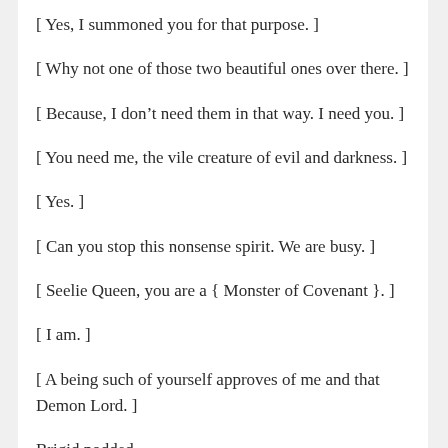[ Yes, I summoned you for that purpose. ]
[ Why not one of those two beautiful ones over there. ]
[ Because, I don't need them in that way. I need you. ]
[ You need me, the vile creature of evil and darkness. ]
[ Yes. ]
[ Can you stop this nonsense spirit. We are busy. ]
[ Seelie Queen, you are a { Monster of Covenant }. ]
[ I am. ]
[ A being such of yourself approves of me and that Demon Lord. ]
Brigid nodded.
[ H…